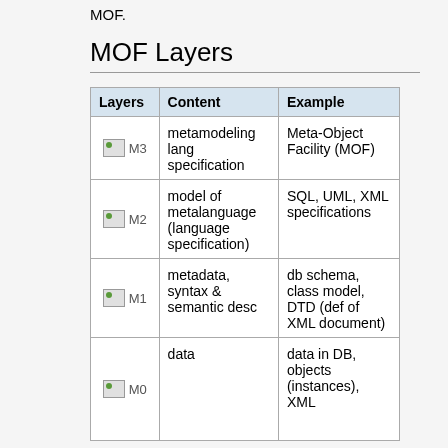MOF.
MOF Layers
| Layers | Content | Example |
| --- | --- | --- |
| M3 | metamodeling lang specification | Meta-Object Facility (MOF) |
| M2 | model of metalanguage (language specification) | SQL, UML, XML specifications |
| M1 | metadata, syntax & semantic desc | db schema, class model, DTD (def of XML document) |
| M0 | data | data in DB, objects (instances), XML |